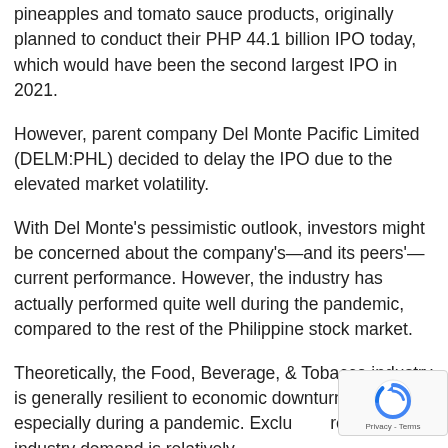pineapples and tomato sauce products, originally planned to conduct their PHP 44.1 billion IPO today, which would have been the second largest IPO in 2021.
However, parent company Del Monte Pacific Limited (DELM:PHL) decided to delay the IPO due to the elevated market volatility.
With Del Monte's pessimistic outlook, investors might be concerned about the company's—and its peers'—current performance. However, the industry has actually performed quite well during the pandemic, compared to the rest of the Philippine stock market.
Theoretically, the Food, Beverage, & Tobacco industry is generally resilient to economic downturns, especially during a pandemic. Excluding restaurants, industry demand is relatively